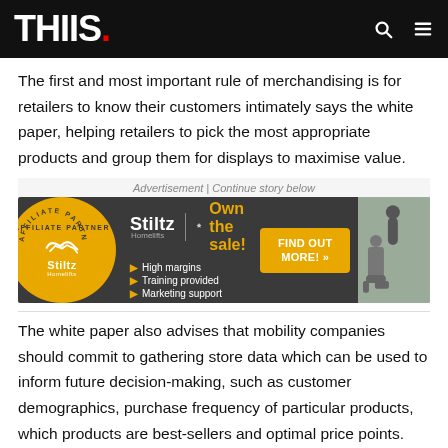THIIS.
The first and most important rule of merchandising is for retailers to know their customers intimately says the white paper, helping retailers to pick the most appropriate products and group them for displays to maximise value.
[Figure (infographic): Stiltz Homelifts affiliate partner advertisement banner with gold circle logo, bullet points (High margins, Training provided, Marketing support), 'Own the sale!' tagline, and 'FIND OUT MORE!' call-to-action button.]
The white paper also advises that mobility companies should commit to gathering store data which can be used to inform future decision-making, such as customer demographics, purchase frequency of particular products, which products are best-sellers and optimal price points.